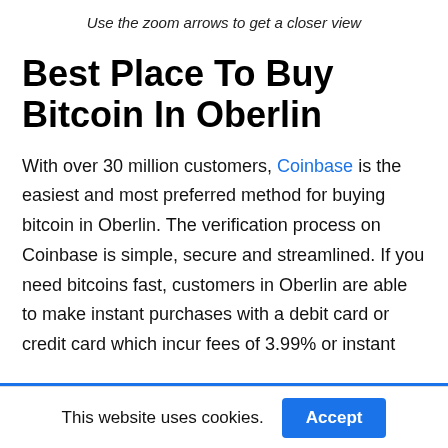Use the zoom arrows to get a closer view
Best Place To Buy Bitcoin In Oberlin
With over 30 million customers, Coinbase is the easiest and most preferred method for buying bitcoin in Oberlin. The verification process on Coinbase is simple, secure and streamlined. If you need bitcoins fast, customers in Oberlin are able to make instant purchases with a debit card or credit card which incur fees of 3.99% or instant
This website uses cookies.